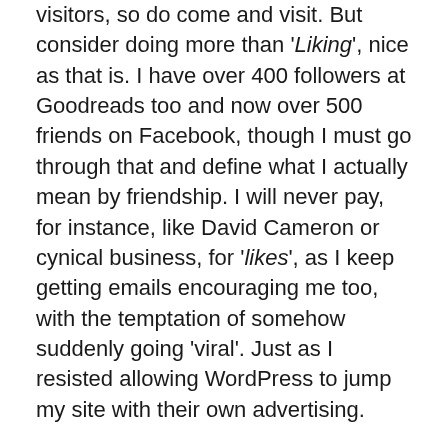visitors, so do come and visit. But consider doing more than 'Liking', nice as that is. I have over 400 followers at Goodreads too and now over 500 friends on Facebook, though I must go through that and define what I actually mean by friendship. I will never pay, for instance, like David Cameron or cynical business, for 'likes', as I keep getting emails encouraging me too, with the temptation of somehow suddenly going 'viral'. Just as I resisted allowing WordPress to jump my site with their own advertising.
This project I hope shares a fire about one book, but many possibilities and ideas, about the chance of a future, and also returns to that idea of people who back it becoming Friends of Phoenix Ark press, with rewards, news and discounts too here. But I hope it's a journey, an adventure, that can bring many real things, not just digitalised words, made out of HTML number coding, crackling pointlessly